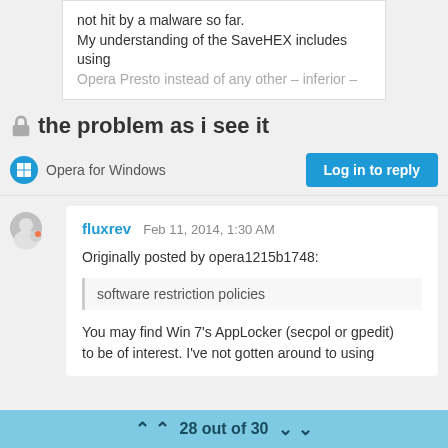not hit by a malware so far.
My understanding of the SaveHEX includes using Opera Presto instead of any other – inferior –
the problem as i see it
Opera for Windows
Log in to reply
fluxrev   Feb 11, 2014, 1:30 AM
Originally posted by opera1215b1748:
software restriction policies
You may find Win 7's AppLocker (secpol or gpedit) to be of interest. I've not gotten around to using
28 out of 30